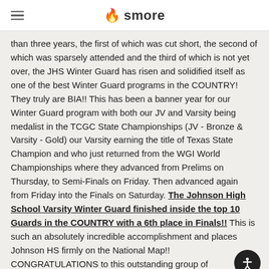smore
than three years, the first of which was cut short, the second of which was sparsely attended and the third of which is not yet over, the JHS Winter Guard has risen and solidified itself as one of the best Winter Guard programs in the COUNTRY! They truly are BIA!! This has been a banner year for our Winter Guard program with both our JV and Varsity being medalist in the TCGC State Championships (JV - Bronze & Varsity - Gold) our Varsity earning the title of Texas State Champion and who just returned from the WGI World Championships where they advanced from Prelims on Thursday, to Semi-Finals on Friday. Then advanced again from Friday into the Finals on Saturday. The Johnson High School Varsity Winter Guard finished inside the top 10 Guards in the COUNTRY with a 6th place in Finals!! This is such an absolutely incredible accomplishment and places Johnson HS firmly on the National Map!! CONGRATULATIONS to this outstanding group of